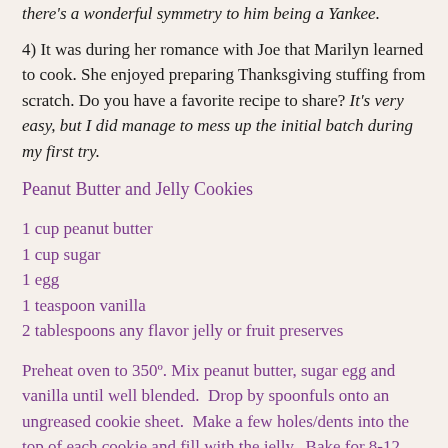there's a wonderful symmetry to him being a Yankee.
4) It was during her romance with Joe that Marilyn learned to cook. She enjoyed preparing Thanksgiving stuffing from scratch. Do you have a favorite recipe to share? It's very easy, but I did manage to mess up the initial batch during my first try.
Peanut Butter and Jelly Cookies
1 cup peanut butter
1 cup sugar
1 egg
1 teaspoon vanilla
2 tablespoons any flavor jelly or fruit preserves
Preheat oven to 350º. Mix peanut butter, sugar egg and vanilla until well blended.  Drop by spoonfuls onto an ungreased cookie sheet.  Make a few holes/dents into the top of each cookie and fill with the jelly.  Bake for 8-12 minutes or until lightly golden